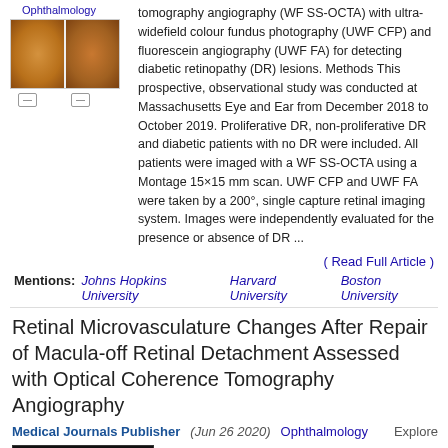Ophthalmology
[Figure (photo): Fundus photography thumbnail showing two retinal images side by side with legend indicators below]
tomography angiography (WF SS-OCTA) with ultra-widefield colour fundus photography (UWF CFP) and fluorescein angiography (UWF FA) for detecting diabetic retinopathy (DR) lesions. Methods This prospective, observational study was conducted at Massachusetts Eye and Ear from December 2018 to October 2019. Proliferative DR, non-proliferative DR and diabetic patients with no DR were included. All patients were imaged with a WF SS-OCTA using a Montage 15×15 mm scan. UWF CFP and UWF FA were taken by a 200°, single capture retinal imaging system. Images were independently evaluated for the presence or absence of DR ...
( Read Full Article )
Mentions: Johns Hopkins University  Harvard University  Boston University
Retinal Microvasculature Changes After Repair of Macula-off Retinal Detachment Assessed with Optical Coherence Tomography Angiography
Medical Journals Publisher (Jun 26 2020)  Ophthalmology  Explore
[Figure (photo): OCT-A image showing retinal microvasculature in grayscale, dark background with white vessel network patterns and dark spots]
Objective: To characterize the microvascular retinal changes after repair of macula-off rhegmatogenous retinal detachment (RRD) using optical coherence tomography angiography (OCT-A). Patients and Methods: A retrospective review of patients who underwent repair of macula-off RRD. Follow-up imaging was performed ...